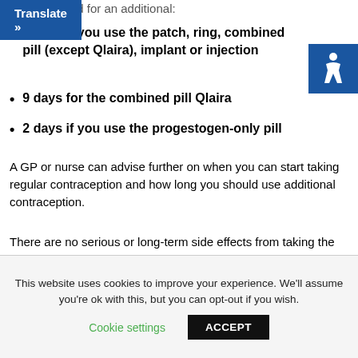[Figure (other): Blue Translate button with right arrow]
7 days if you use the patch, ring, combined pill (except Qlaira), implant or injection
9 days for the combined pill Qlaira
2 days if you use the progestogen-only pill
A GP or nurse can advise further on when you can start taking regular contraception and how long you should use additional contraception.
There are no serious or long-term side effects from taking the emergency contraceptive pill.
But it can cause:
This website uses cookies to improve your experience. We'll assume you're ok with this, but you can opt-out if you wish.